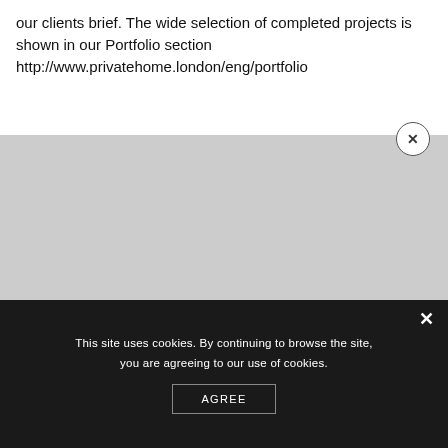our clients brief. The wide selection of completed projects is shown in our Portfolio section http://www.privatehome.london/eng/portfolio
[Figure (screenshot): Gray placeholder area representing a website screenshot or image area with a close (x) button in the top right corner]
This site uses cookies. By continuing to browse the site, you are agreeing to our use of cookies. AGREE